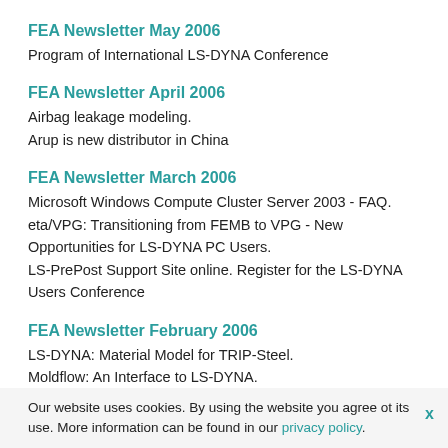FEA Newsletter May 2006
Program of International LS-DYNA Conference
FEA Newsletter April 2006
Airbag leakage modeling.
Arup is new distributor in China
FEA Newsletter March 2006
Microsoft Windows Compute Cluster Server 2003 - FAQ.
eta/VPG: Transitioning from FEMB to VPG - New Opportunities for LS-DYNA PC Users.
LS-PrePost Support Site online. Register for the LS-DYNA Users Conference
FEA Newsletter February 2006
LS-DYNA: Material Model for TRIP-Steel.
Moldflow: An Interface to LS-DYNA.
Our website uses cookies. By using the website you agree ot its use. More information can be found in our privacy policy.